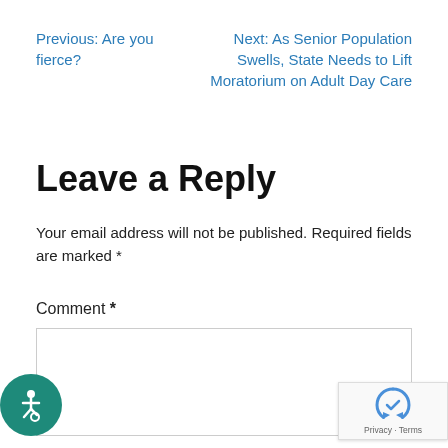Previous: Are you fierce?
Next: As Senior Population Swells, State Needs to Lift Moratorium on Adult Day Care
Leave a Reply
Your email address will not be published. Required fields are marked *
Comment *
[Figure (other): Accessibility icon - wheelchair symbol on teal circular background]
[Figure (other): reCAPTCHA badge with logo and Privacy - Terms text]